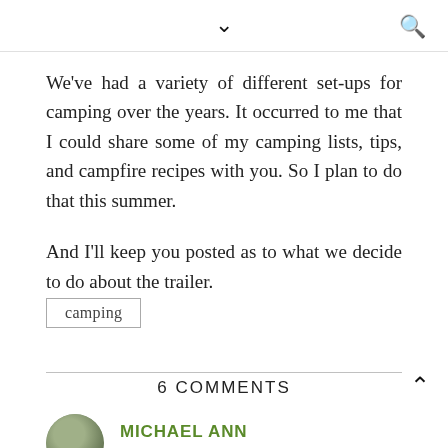Navigation header with chevron-down and search icon
We've had a variety of different set-ups for camping over the years. It occurred to me that I could share some of my camping lists, tips, and campfire recipes with you. So I plan to do that this summer.
And I'll keep you posted as to what we decide to do about the trailer.
camping
6 COMMENTS
MICHAEL ANN